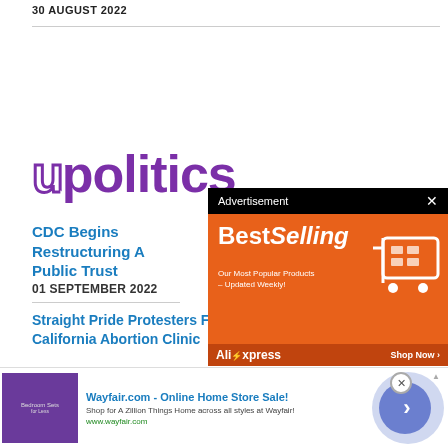30 AUGUST 2022
[Figure (logo): upolitics logo in purple]
CDC Begins Restructuring A Public Trust
01 SEPTEMBER 2022
Straight Pride Protesters Fi Choice Group Outside Of California Abortion Clinic
[Figure (infographic): BestSelling AliExpress advertisement banner with orange background and shopping cart graphic]
[Figure (infographic): Wayfair.com Online Home Store Sale advertisement banner at the bottom]